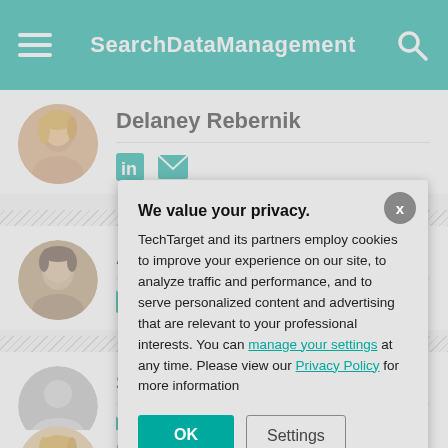SearchDataManagement
Delaney Rebernik
[Figure (photo): Circular profile photo of Delaney Rebernik, a woman with blonde hair, smiling]
Abie
[Figure (photo): Circular profile photo of Abie, a middle-aged man with short dark hair]
Stef
[Figure (photo): Circular default/placeholder profile silhouette for Stef]
Mar
[Figure (photo): Circular profile photo of Mar, a woman with blonde hair]
We value your privacy.
TechTarget and its partners employ cookies to improve your experience on our site, to analyze traffic and performance, and to serve personalized content and advertising that are relevant to your professional interests. You can manage your settings at any time. Please view our Privacy Policy for more information